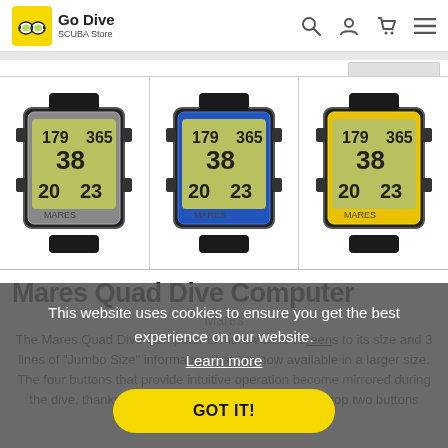Go Dive SCUBA Store
[Figure (photo): Three Mares Quad Dive Computers side by side: silver/black, blue/black, and yellow/black variants, each showing a digital display with numbers 179, 365, 38, 20, 23]
Mares Quad Dive Computer
Mares
The Mares Quad Dive Computer is more visible scareenshots to its size and 3 lines of "Jumbo Size" information that are now available in a larger size. The four buttons that provide intuitive operation become mirrored during the dive, thanks to the mirrored button function. The top two buttons perform the
This website uses cookies to ensure you get the best experience on our website. Learn more
GOT IT!